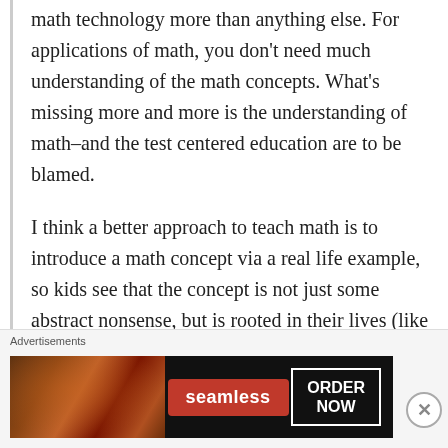math technology more than anything else. For applications of math, you don't need much understanding of the math concepts. What's missing more and more is the understanding of math–and the test centered education are to be blamed.
I think a better approach to teach math is to introduce a math concept via a real life example, so kids see that the concept is not just some abstract nonsense, but is rooted in their lives (like talk about 6 apples). Then understand the new concept in the mathematical framework (like what is 6 as a number). Then show diverse applications (like we
Advertisements
[Figure (photo): Seamless food delivery advertisement showing pizza with Seamless logo and ORDER NOW button on dark background]